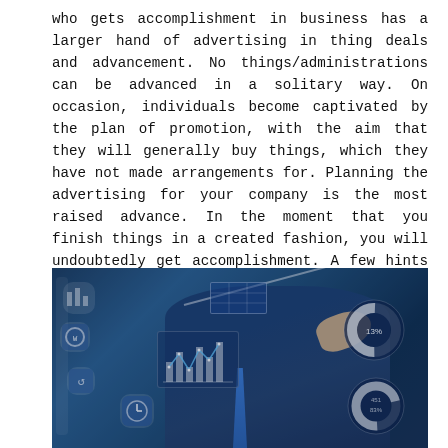who gets accomplishment in business has a larger hand of advertising in thing deals and advancement. No things/administrations can be advanced in a solitary way. On occasion, individuals become captivated by the plan of promotion, with the aim that they will generally buy things, which they have not made arrangements for. Planning the advertising for your company is the most raised advance. In the moment that you finish things in a created fashion, you will undoubtedly get accomplishment. A few hints for fruitful business marketing are given below.
[Figure (photo): A business person in a suit pointing at a digital interface with charts, bar graphs, and circular gauges, all in a blue-tinted tech/marketing theme.]